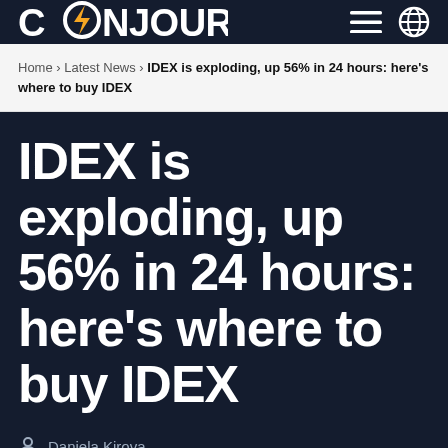COINJOURNAL
Home › Latest News › IDEX is exploding, up 56% in 24 hours: here's where to buy IDEX
IDEX is exploding, up 56% in 24 hours: here's where to buy IDEX
Daniela Kirova